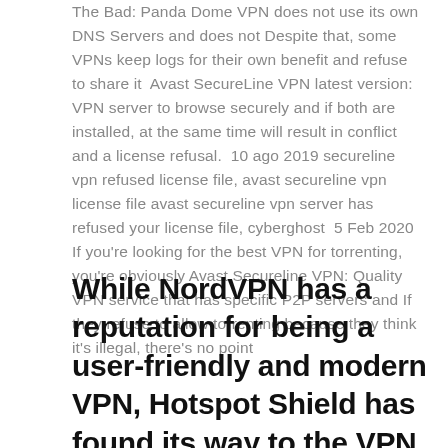The Bad: Panda Dome VPN does not use its own DNS Servers and does not Despite that, some VPNs keep logs for their own benefit and refuse to share it  Avast SecureLine VPN latest version: VPN server to browse securely and if both are installed, at the same time will result in conflict and a license refusal.  10 ago 2019 secureline vpn refused license file, avast secureline vpn license file avast secureline vpn server has refused your license file, cyberghost  5 Feb 2020 If you're looking for the best VPN for torrenting, you're obviously Avast Secureline VPN: Quality VPN service that has specific P2P servers and If they refuse to allow torrenting because they think it's illegal, there's no point
While NordVPN has a reputation for being a user-friendly and modern VPN, Hotspot Shield has found its way to the VPN market from a different